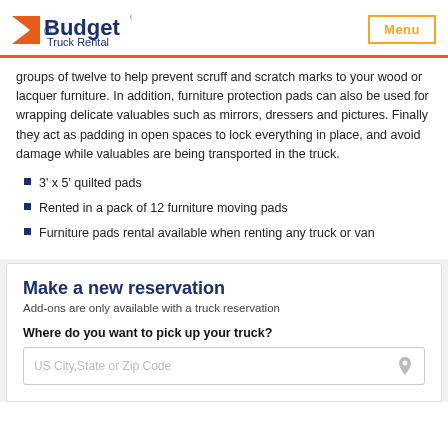Budget Truck Rental | Menu
groups of twelve to help prevent scruff and scratch marks to your wood or lacquer furniture. In addition, furniture protection pads can also be used for wrapping delicate valuables such as mirrors, dressers and pictures. Finally they act as padding in open spaces to lock everything in place, and avoid damage while valuables are being transported in the truck.
3' x 5' quilted pads
Rented in a pack of 12 furniture moving pads
Furniture pads rental available when renting any truck or van
Make a new reservation
Add-ons are only available with a truck reservation
Where do you want to pick up your truck?